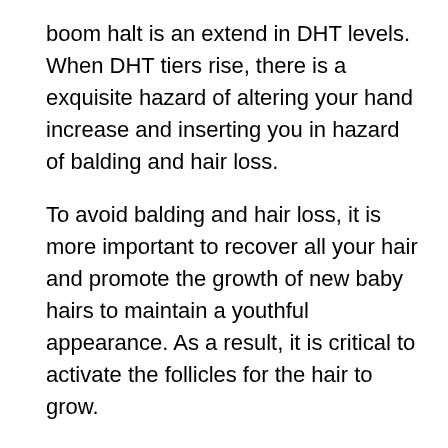boom halt is an extend in DHT levels. When DHT tiers rise, there is a exquisite hazard of altering your hand increase and inserting you in hazard of balding and hair loss.
To avoid balding and hair loss, it is more important to recover all your hair and promote the growth of new baby hairs to maintain a youthful appearance. As a result, it is critical to activate the follicles for the hair to grow.
Thus, the characteristics and brought components with minerals and nutritional vitamins will supply you top notch options that naturally can cease the risky enzyme and poisonous steroids that harm your hair boom and maintain your hair from loss and balding.